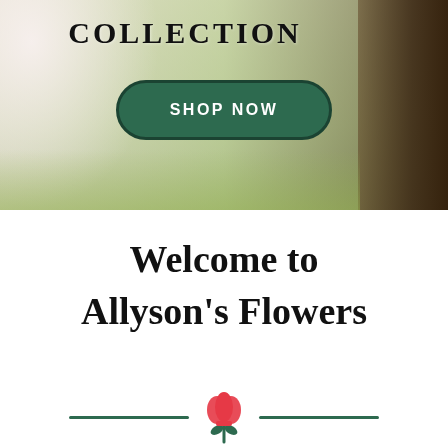[Figure (photo): Blurred outdoor background with green grass, soft light on the left, and a dark tree trunk on the right. Text 'COLLECTION' appears at the top, with a dark green 'SHOP NOW' button below.]
Welcome to Allyson's Flowers
[Figure (illustration): Decorative divider with two dark green horizontal lines flanking a red tulip flower icon in the center.]